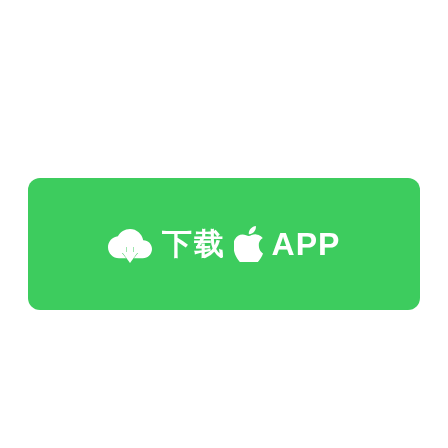[Figure (other): Green rounded rectangle button with white cloud download icon, two CJK characters, Apple logo icon, and the text 'APP']